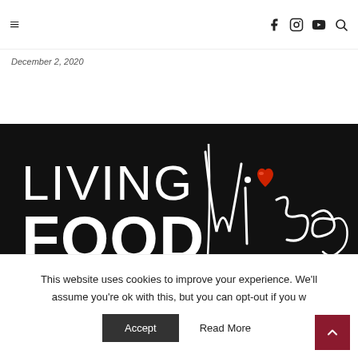Navigation header with hamburger menu and social icons (Facebook, Instagram, YouTube, Search)
December 2, 2020
[Figure (logo): Living Food Wise logo on black background. Large white bold text reading LIVING FOOD with stylized cursive script reading Wise, with a red heart icon incorporated into the design.]
This website uses cookies to improve your experience. We'll assume you're ok with this, but you can opt-out if you w...
Accept   Read More